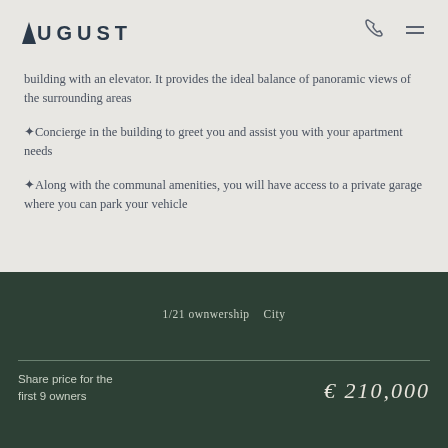[Figure (logo): August brand logo with phone and menu icons in header]
building with an elevator. It provides the ideal balance of panoramic views of the surrounding areas
✦Concierge in the building to greet you and assist you with your apartment needs
✦Along with the communal amenities, you will have access to a private garage where you can park your vehicle
1/21 ownwership   City
Share price for the first 9 owners
€ 210,000